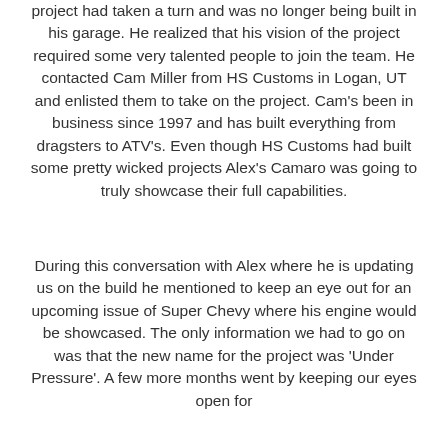project had taken a turn and was no longer being built in his garage. He realized that his vision of the project required some very talented people to join the team. He contacted Cam Miller from HS Customs in Logan, UT and enlisted them to take on the project. Cam's been in business since 1997 and has built everything from dragsters to ATV's. Even though HS Customs had built some pretty wicked projects Alex's Camaro was going to truly showcase their full capabilities.
During this conversation with Alex where he is updating us on the build he mentioned to keep an eye out for an upcoming issue of Super Chevy where his engine would be showcased. The only information we had to go on was that the new name for the project was 'Under Pressure'. A few more months went by keeping our eyes open for